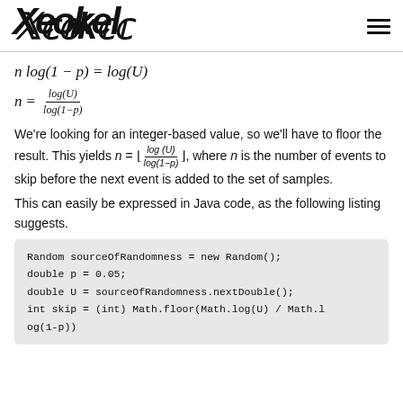Xeokx [logo] with hamburger menu
We're looking for an integer-based value, so we'll have to floor the result. This yields n = ⌊log(U)/log(1-p)⌋, where n is the number of events to skip before the next event is added to the set of samples.
This can easily be expressed in Java code, as the following listing suggests.
Random sourceOfRandomness = new Random();
double p = 0.05;
double U = sourceOfRandomness.nextDouble();
int skip = (int) Math.floor(Math.log(U) / Math.log(1-p))